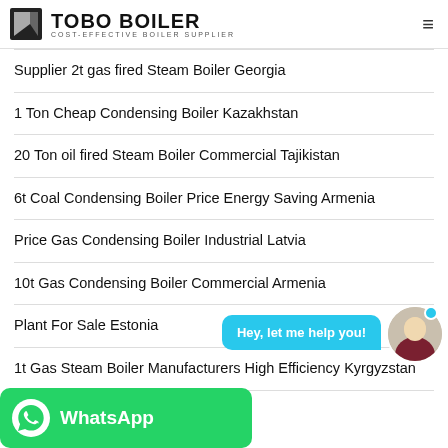TOBO BOILER COST-EFFECTIVE BOILER SUPPLIER
Supplier 2t gas fired Steam Boiler Georgia
1 Ton Cheap Condensing Boiler Kazakhstan
20 Ton oil fired Steam Boiler Commercial Tajikistan
6t Coal Condensing Boiler Price Energy Saving Armenia
Price Gas Condensing Boiler Industrial Latvia
10t Gas Condensing Boiler Commercial Armenia
Plant For Sale Estonia
1t Gas Steam Boiler Manufacturers High Efficiency Kyrgyzstan